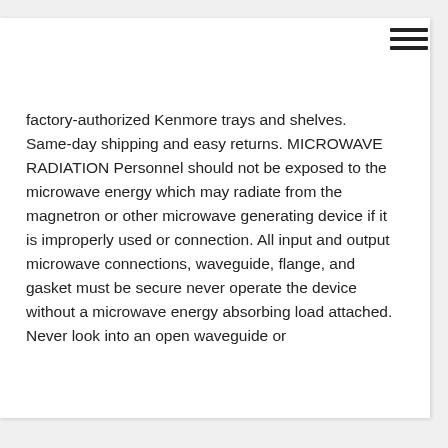factory-authorized Kenmore trays and shelves. Same-day shipping and easy returns. MICROWAVE RADIATION Personnel should not be exposed to the microwave energy which may radiate from the magnetron or other microwave generating device if it is improperly used or connection. All input and output microwave connections, waveguide, flange, and gasket must be secure never operate the device without a microwave energy absorbing load attached. Never look into an open waveguide or